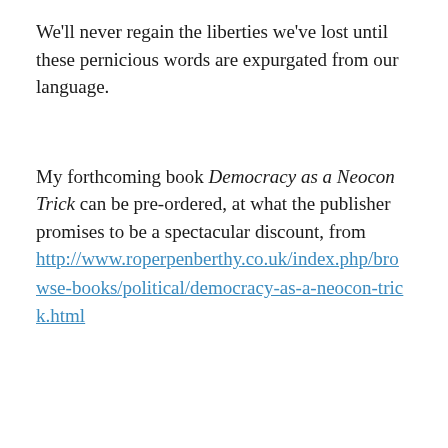We'll never regain the liberties we've lost until these pernicious words are expurgated from our language.
My forthcoming book Democracy as a Neocon Trick can be pre-ordered, at what the publisher promises to be a spectacular discount, from http://www.roperpenberthy.co.uk/index.php/browse-books/political/democracy-as-a-neocon-trick.html